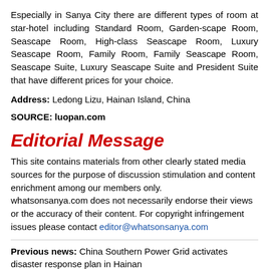Especially in Sanya City there are different types of room at star-hotel including Standard Room, Garden-scape Room, Seascape Room, High-class Seascape Room, Luxury Seascape Room, Family Room, Family Seascape Room, Seascape Suite, Luxury Seascape Suite and President Suite that have different prices for your choice.
Address: Ledong Lizu, Hainan Island, China
SOURCE: luopan.com
Editorial Message
This site contains materials from other clearly stated media sources for the purpose of discussion stimulation and content enrichment among our members only.
whatsonsanya.com does not necessarily endorse their views or the accuracy of their content. For copyright infringement issues please contact editor@whatsonsanya.com
Previous news: China Southern Power Grid activates disaster response plan in Hainan